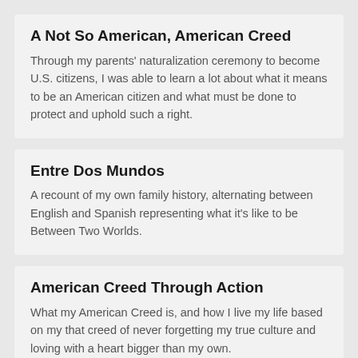A Not So American, American Creed
Through my parents' naturalization ceremony to become U.S. citizens, I was able to learn a lot about what it means to be an American citizen and what must be done to protect and uphold such a right.
Entre Dos Mundos
A recount of my own family history, alternating between English and Spanish representing what it's like to be Between Two Worlds.
American Creed Through Action
What my American Creed is, and how I live my life based on my that creed of never forgetting my true culture and loving with a heart bigger than my own.